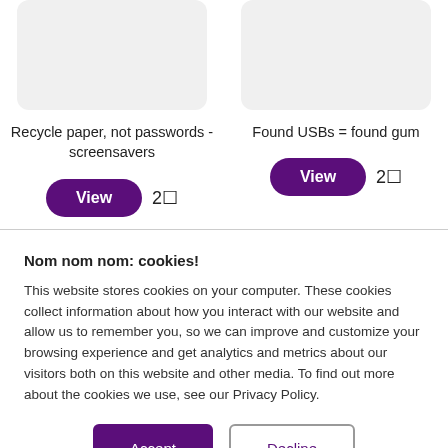[Figure (screenshot): Placeholder card image (light gray rounded rectangle) for 'Recycle paper, not passwords - screensavers']
Recycle paper, not passwords - screensavers
[Figure (screenshot): Placeholder card image (light gray rounded rectangle) for 'Found USBs = found gum']
Found USBs = found gum
View 2☐
View 2☐
Nom nom nom: cookies!
This website stores cookies on your computer. These cookies collect information about how you interact with our website and allow us to remember you, so we can improve and customize your browsing experience and get analytics and metrics about our visitors both on this website and other media. To find out more about the cookies we use, see our Privacy Policy.
Accept
Decline